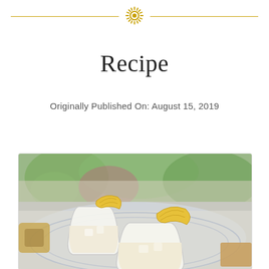Recipe
Originally Published On: August 15, 2019
[Figure (photo): Two glasses of a creamy white cocktail or drink, each garnished with a slice of pineapple on the rim, placed on a decorative blue-patterned tray with a wooden handle and cork coaster. Green garden foliage visible in the blurred background.]